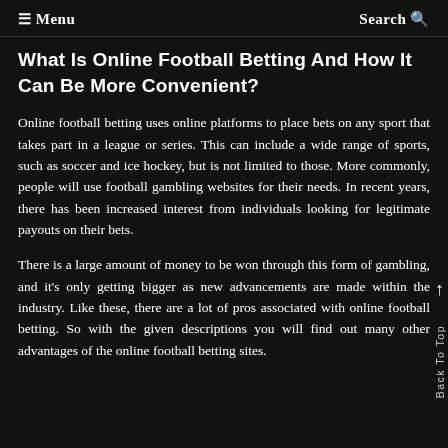≡ Menu    Search 🔍
What Is Online Football Betting And How It Can Be More Convenient?
Online football betting uses online platforms to place bets on any sport that takes part in a league or series. This can include a wide range of sports, such as soccer and ice hockey, but is not limited to those. More commonly, people will use football gambling websites for their needs. In recent years, there has been increased interest from individuals looking for legitimate payouts on their bets.
There is a large amount of money to be won through this form of gambling, and it's only getting bigger as new advancements are made within the industry. Like these, there are a lot of pros associated with online football betting. So with the given descriptions you will find out many other advantages of the online football betting sites.